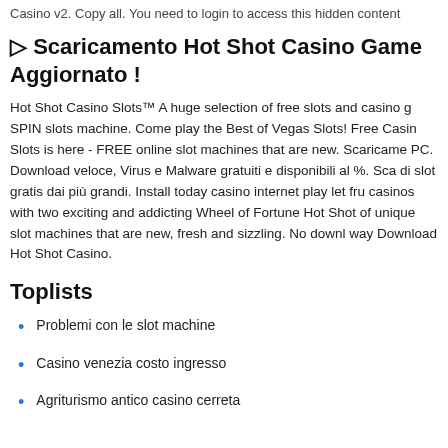Casino v2. Copy all. You need to login to access this hidden content
▷ Scaricamento Hot Shot Casino Game Aggiornato !
Hot Shot Casino Slots™ A huge selection of free slots and casino games. SPIN slots machine. Come play the Best of Vegas Slots! Free Casino Slots is here - FREE online slot machines that are new. Scaricamento PC. Download veloce, Virus e Malware gratuiti e disponibili al %. Scaricamento di slot gratis dai più grandi. Install today casino internet play let fru casinos with two exciting and addicting Wheel of Fortune Hot Shot of unique slot machines that are new, fresh and sizzling. No downl way Download Hot Shot Casino.
Toplists
Problemi con le slot machine
Casino venezia costo ingresso
Agriturismo antico casino cerreta